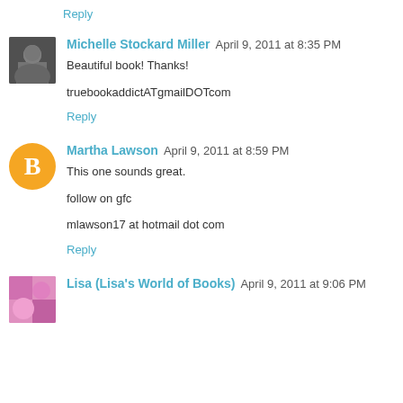Reply
Michelle Stockard Miller   April 9, 2011 at 8:35 PM
Beautiful book! Thanks!
truebookaddictATgmailDOTcom
Reply
Martha Lawson   April 9, 2011 at 8:59 PM
This one sounds great.
follow on gfc
mlawson17 at hotmail dot com
Reply
Lisa (Lisa's World of Books)   April 9, 2011 at 9:06 PM